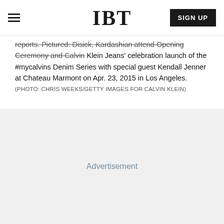IBT | SIGN UP
reports. Pictured: Disick, Kardashian attend Opening Ceremony and Calvin Klein Jeans' celebration launch of the #mycalvins Denim Series with special guest Kendall Jenner at Chateau Marmont on Apr. 23, 2015 in Los Angeles. (PHOTO: CHRIS WEEKS/GETTY IMAGES FOR CALVIN KLEIN)
[Figure (other): Advertisement placeholder area with light gray background]